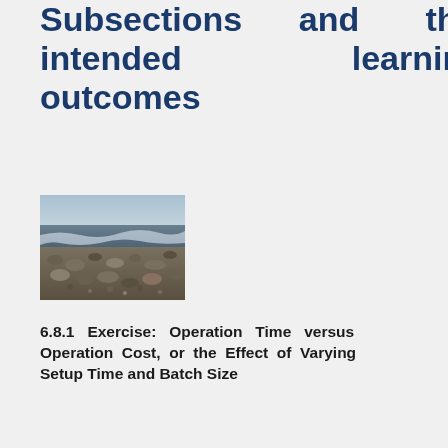Course Section etc. Subsections and their intended learning outcomes
[Figure (photo): Photograph of a rocky beach or shoreline with pebbles and water]
6.8.1 Exercise: Operation Time versus Operation Cost, or the Effect of Varying Setup Time and Batch Size
Intended learning outcomes: Explain the need to find a balance between short lead time, and low cost, for any operation. These two factors are determined by setup time and batch size.